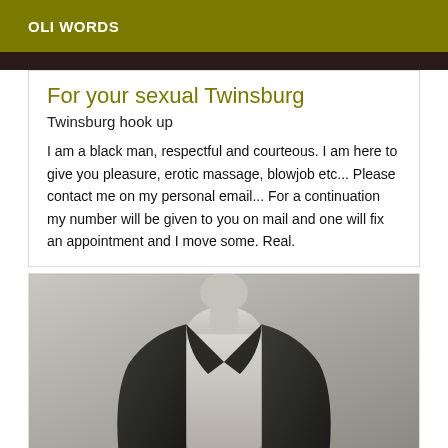OLI WORDS
For your sexual Twinsburg
Twinsburg hook up
I am a black man, respectful and courteous. I am here to give you pleasure, erotic massage, blowjob etc... Please contact me on my personal email... For a continuation my number will be given to you on mail and one will fix an appointment and I move some. Real.
[Figure (photo): Black and white photo of a person with an open dark jacket, showing their torso]